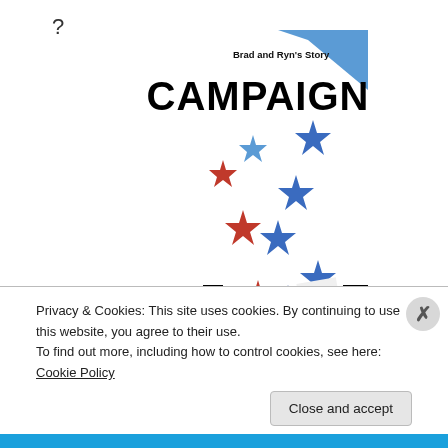?
[Figure (illustration): Book cover for 'Campaign: Brad and Ryn's Story' by E. Ayers. White background with red, white, and blue stars scattered across the cover, a black city skyline silhouette at the bottom. Subtitle reads 'Brad and Ryn's Story', main title 'CAMPAIGN' in large bold black text, author name 'E. AYERS' in white bold text at bottom.]
Privacy & Cookies: This site uses cookies. By continuing to use this website, you agree to their use.
To find out more, including how to control cookies, see here: Cookie Policy
Close and accept